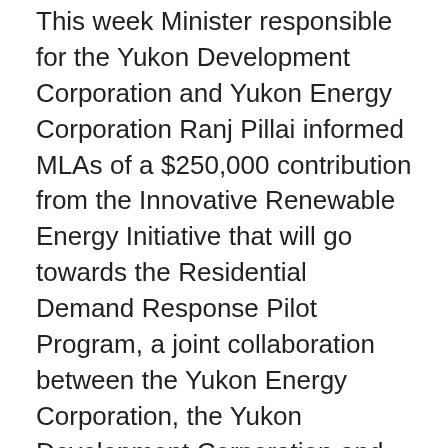This week Minister responsible for the Yukon Development Corporation and Yukon Energy Corporation Ranj Pillai informed MLAs of a $250,000 contribution from the Innovative Renewable Energy Initiative that will go towards the Residential Demand Response Pilot Program, a joint collaboration between the Yukon Energy Corporation, the Yukon Development Corporation and the ATCO Electric Yukon. This program will make the territory's electrical grid more efficient by equipping approximately 400 homes with smart devices that will allow Yukon Energy's System Control Centre to shift participating customers' energy demand to off-peak hours and meet the Yukon's growing capacity needs in a cost-effective and sustainable way, while reducing pollution caused by thermal power generation. If fully subscribed, government anticipates a potential